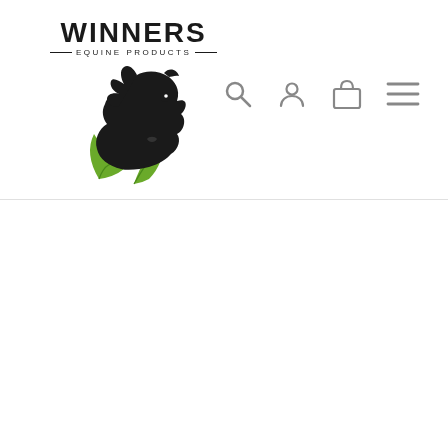[Figure (logo): Winners Equine Products logo: black horse head silhouette with green leaves, text WINNERS above with tagline EQUINE PRODUCTS]
[Figure (infographic): Navigation bar icons: search magnifying glass, user/person icon, shopping bag icon, hamburger menu icon]